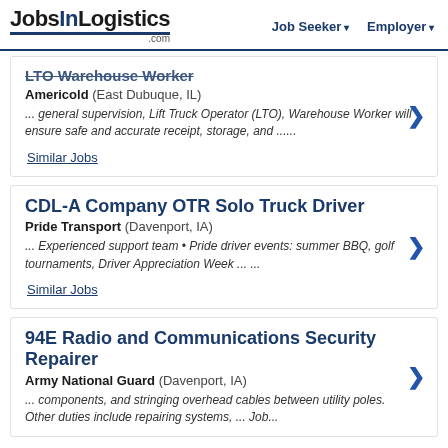JobsInLogistics.com | Job Seeker | Employer
LTO Warehouse Worker
Americold (East Dubuque, IL)
... general supervision, Lift Truck Operator (LTO), Warehouse Worker will ensure safe and accurate receipt, storage, and ......
Similar Jobs
CDL-A Company OTR Solo Truck Driver
Pride Transport (Davenport, IA)
... Experienced support team • Pride driver events: summer BBQ, golf tournaments, Driver Appreciation Week ... ...
Similar Jobs
94E Radio and Communications Security Repairer
Army National Guard (Davenport, IA)
... components, and stringing overhead cables between utility poles. Other duties include repairing systems, ... Job...